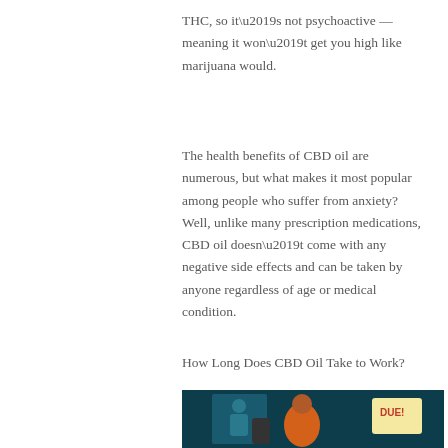THC, so it’s not psychoactive — meaning it won’t get you high like marijuana would.
The health benefits of CBD oil are numerous, but what makes it most popular among people who suffer from anxiety? Well, unlike many prescription medications, CBD oil doesn’t come with any negative side effects and can be taken by anyone regardless of age or medical condition.
How Long Does CBD Oil Take to Work?
[Figure (illustration): Illustration of a stressed woman with brown hair holding a phone in one hand and a 'DUE!' bill in the other, with a dark teal background and a framed picture behind her.]